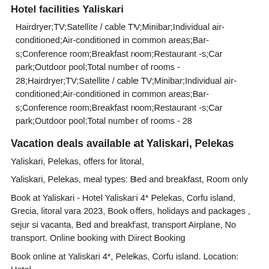Hotel facilities Yaliskari
Hairdryer;TV;Satellite / cable TV;Minibar;Individual air-conditioned;Air-conditioned in common areas;Bar-s;Conference room;Breakfast room;Restaurant -s;Car park;Outdoor pool;Total number of rooms - 28;Hairdryer;TV;Satellite / cable TV;Minibar;Individual air-conditioned;Air-conditioned in common areas;Bar-s;Conference room;Breakfast room;Restaurant -s;Car park;Outdoor pool;Total number of rooms - 28
Vacation deals available at Yaliskari, Pelekas
Yaliskari, Pelekas, offers for litoral,
Yaliskari, Pelekas, meal types: Bed and breakfast, Room only
Book at Yaliskari - Hotel Yaliskari 4* Pelekas, Corfu island, Grecia, litoral vara 2023, Book offers, holidays and packages , sejur si vacanta, Bed and breakfast, transport Airplane, No transport. Online booking with Direct Booking
Book online at Yaliskari 4*, Pelekas, Corfu island. Location: Hotel